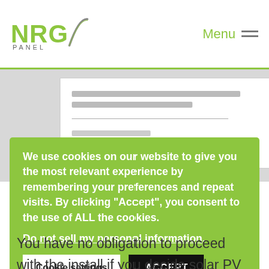[Figure (logo): NRG Panel logo — green NRG text with grey swoosh/slash and PANEL text below]
Menu
[Figure (screenshot): Partial screenshot of NRG Panel website showing a form/card with NRG22589 reference number]
We use cookies on our website to give you the most relevant experience by remembering your preferences and repeat visits. By clicking "Accept", you consent to the use of ALL the cookies.
Do not sell my personal information.
Cookie settings
ACCEPT
You have no obligation to proceed with the install if you decide solar PV is not for you after the consultation. However, you may like the idea of saving up to 50% on your electricity bills along